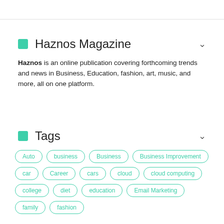Haznos Magazine
Haznos is an online publication covering forthcoming trends and news in Business, Education, fashion, art, music, and more, all on one platform.
Tags
Auto
business
Business
Business Improvement
car
Career
cars
cloud
cloud computing
college
diet
education
Email Marketing
family
fashion